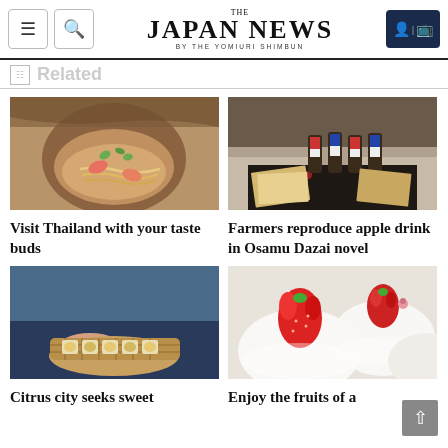THE JAPAN NEWS BY THE YOMIURI SHIMBUN
Related
[Figure (photo): A bowl of Thai food with shrimp and noodles garnished with herbs]
Visit Thailand with your taste buds
[Figure (photo): Several bottles of apple drink labeled BASHO on a table with books and magazines]
Farmers reproduce apple drink in Osamu Dazai novel
[Figure (photo): Person holding a basket tray with small packaged citrus sweets]
Citrus city seeks sweet
[Figure (photo): Ichigo daifuku mochi with strawberries on top, white mochi balls with pink flower buds]
Enjoy the fruits of a